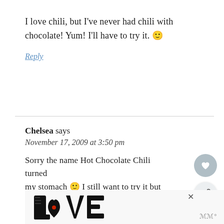I love chili, but I've never had chili with chocolate! Yum! I'll have to try it. 🙂
Reply
Chelsea says
November 17, 2009 at 3:50 pm
Sorry the name Hot Chocolate Chili turned my stomach 🙂 I still want to try it but don't think I'll call it that 🙂 LOVE the pics!
[Figure (other): Decorative LOVE lettering art with ornate black and white patterns and a small red detail, shown as an advertisement or widget banner at the bottom of the page]